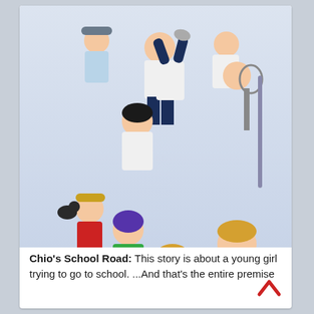[Figure (illustration): Anime promotional artwork for Chio's School Road featuring multiple anime characters including a blonde girl in a school uniform (Chio) in the foreground, a muscular blond man in a red shirt, a girl with purple hair in a green top, and several other characters in a dynamic group pose]
Chio's School Road: This story is about a young girl trying to go to school. ...And that's the entire premise